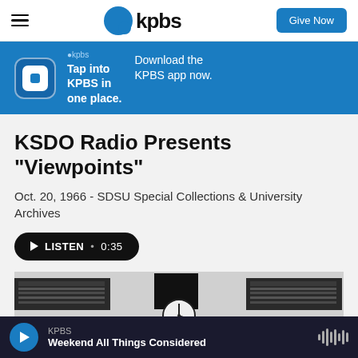KPBS | Give Now
[Figure (screenshot): KPBS app advertisement banner: 'Tap into KPBS in one place. Download the KPBS app now.']
KSDO Radio Presents "Viewpoints"
Oct. 20, 1966 - SDSU Special Collections & University Archives
LISTEN • 0:35
[Figure (photo): Black and white photo of a radio studio with a wall clock and equipment visible]
KPBS
Weekend All Things Considered